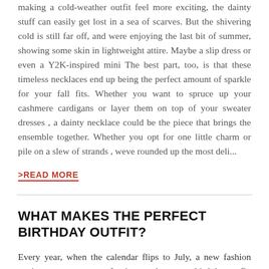making a cold-weather outfit feel more exciting, the dainty stuff can easily get lost in a sea of scarves. But the shivering cold is still far off, and were enjoying the last bit of summer, showing some skin in lightweight attire. Maybe a slip dress or even a Y2K-inspired mini The best part, too, is that these timeless necklaces end up being the perfect amount of sparkle for your fall fits. Whether you want to spruce up your cashmere cardigans or layer them on top of your sweater dresses , a dainty necklace could be the piece that brings the ensemble together. Whether you opt for one little charm or pile on a slew of strands , weve rounded up the most deli...
>READ MORE
WHAT MAKES THE PERFECT BIRTHDAY OUTFIT?
Every year, when the calendar flips to July, a new fashion anxiety comes over me: Its time to choose my birthday outfit. While my personal style is a revolving door of neutral colors , oversized blazers , and wide-leg pants ,